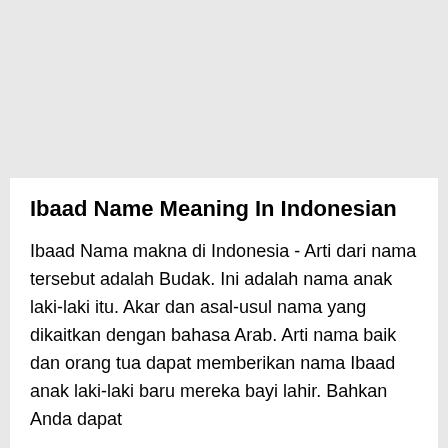Ibaad Name Meaning In Indonesian
Ibaad Nama makna di Indonesia - Arti dari nama tersebut adalah Budak. Ini adalah nama anak laki-laki itu. Akar dan asal-usul nama yang dikaitkan dengan bahasa Arab. Arti nama baik dan orang tua dapat memberikan nama Ibaad anak laki-laki baru mereka bayi lahir. Bahkan Anda dapat